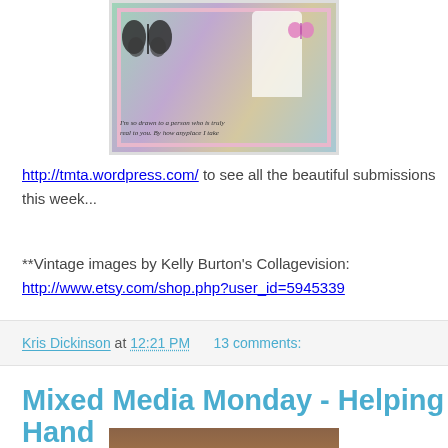[Figure (illustration): Vintage mixed media collage artwork showing a figure in a white dress with butterflies on a colorful painted background with handwritten script text at the bottom, surrounded by a pink border.]
http://tmta.wordpress.com/ to see all the beautiful submissions this week...
**Vintage images by Kelly Burton's Collagevision:
http://www.etsy.com/shop.php?user_id=5945339
Kris Dickinson at 12:21 PM   13 comments:
Mixed Media Monday - Helping Hand
[Figure (photo): Partial view of a wood-grain background with a mauve/purple card or paper element visible at the bottom.]